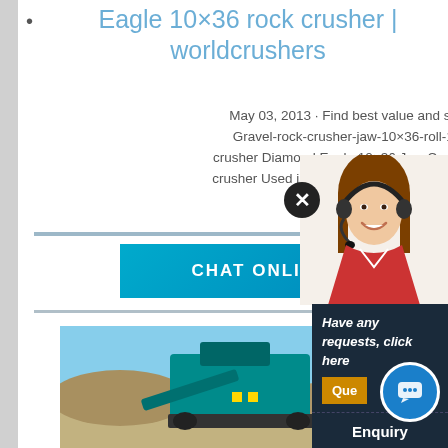Eagle 10×36 rock crusher | worldcrushers
May 03, 2013 · Find best value and selection for your Diamond-Gravel-rock-crusher-jaw-10×36-roll-18×30 powered 10×36 jaw crusher Diamond Eagle 10×36 Jaw Crusher w/30 for sale 10×36 ja… crusher Used jaw crushers for crushing rock for mining and into small
[Figure (screenshot): Teal/cyan colored Chat Online button]
[Figure (photo): Teal colored mobile rock crusher machine at a quarry/mining site with gravel mounds and blue sky]
[Figure (photo): Customer service representative woman with headset smiling]
Have any requests, click here
Que
Enquiry
limingjlmofen@sina.com